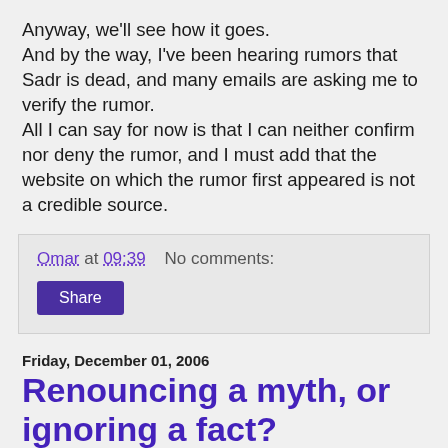Anyway, we'll see how it goes.
And by the way, I've been hearing rumors that Sadr is dead, and many emails are asking me to verify the rumor.
All I can say for now is that I can neither confirm nor deny the rumor, and I must add that the website on which the rumor first appeared is not a credible source.
Omar at 09:39    No comments:
Share
Friday, December 01, 2006
Renouncing a myth, or ignoring a fact?
It's really odd that the arrest of "Baghdad Sniper" didn't get any mention in the news. Of course except for here on Pajamas Media when we reported it two days ago.
And two days ago it was understandable since the only source available back then had been a short report aired on Radio Sawa. We thought...